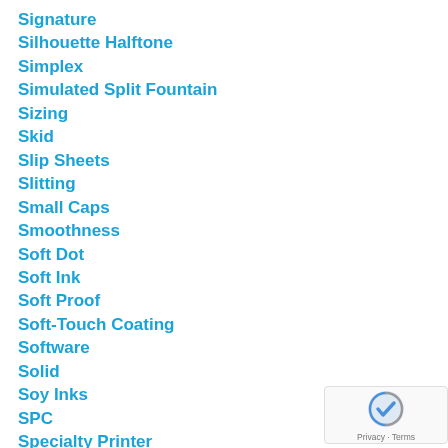Signature
Silhouette Halftone
Simplex
Simulated Split Fountain
Sizing
Skid
Slip Sheets
Slitting
Small Caps
Smoothness
Soft Dot
Soft Ink
Soft Proof
Soft-Touch Coating
Software
Solid
Soy Inks
SPC
Specialty Printer